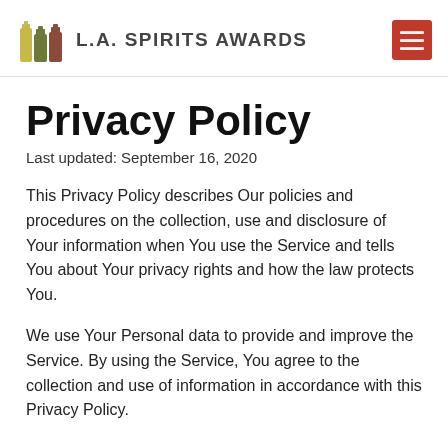L.A. SPIRITS AWARDS
Privacy Policy
Last updated: September 16, 2020
This Privacy Policy describes Our policies and procedures on the collection, use and disclosure of Your information when You use the Service and tells You about Your privacy rights and how the law protects You.
We use Your Personal data to provide and improve the Service. By using the Service, You agree to the collection and use of information in accordance with this Privacy Policy.